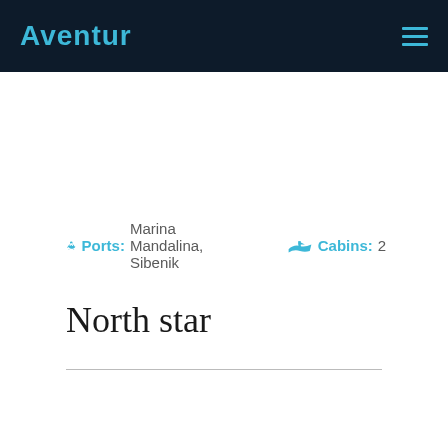Aventur
Ports: Marina Mandalina, Sibenik   Cabins: 2
North star